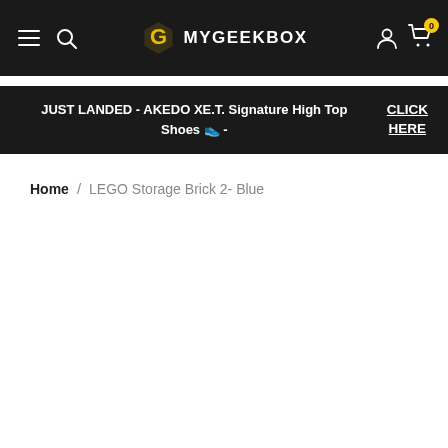MYGEEKBOX - navigation header with hamburger menu, search, logo, account and cart icons
JUST LANDED - AKEDO XE.T. Signature High Top Shoes 👟 - CLICK HERE
Home / LEGO Storage Brick 2- Blue